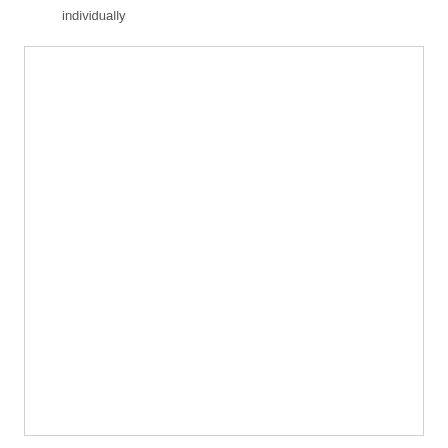individually
[Figure (other): A large empty white box with a light gray border, taking up most of the page below the text label.]